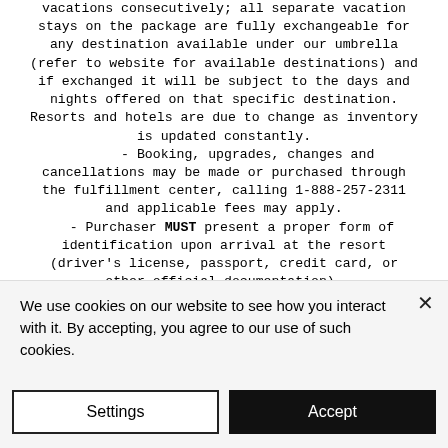vacations consecutively; all separate vacation stays on the package are fully exchangeable for any destination available under our umbrella (refer to website for available destinations) and if exchanged it will be subject to the days and nights offered on that specific destination. Resorts and hotels are due to change as inventory is updated constantly.
- Booking, upgrades, changes and cancellations may be made or purchased through the fulfillment center, calling 1-888-257-2311 and applicable fees may apply.
- Purchaser MUST present a proper form of identification upon arrival at the resort (driver's license, passport, credit card, or other official documentation).
- Some resorts are eligibility-specific (age/income/single/married/cohabiting); purchasers are advised to seek more information prior to or at the time of booking their reservation(s).
We use cookies on our website to see how you interact with it. By accepting, you agree to our use of such cookies.
Settings
Accept